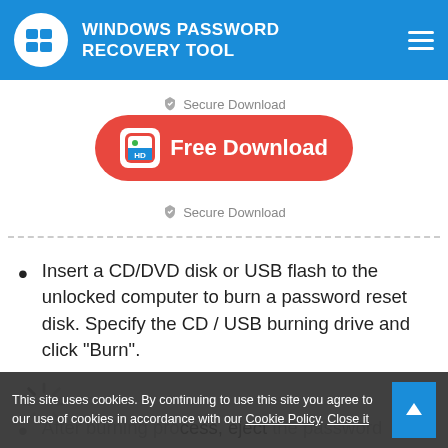WINDOWS PASSWORD RECOVERY TOOL
[Figure (other): Red rounded download button with Mac Finder icon and text 'Free Download']
Secure Download
Secure Download
Insert a CD/DVD disk or USB flash to the unlocked computer to burn a password reset disk. Specify the CD / USB burning drive and click "Burn".
[Figure (other): Loading spinner icon]
After burning process, eject the password
This site uses cookies. By continuing to use this site you agree to our use of cookies in accordance with our Cookie Policy. Close it